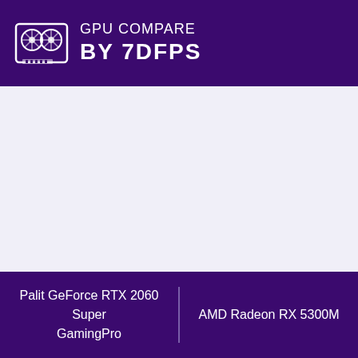GPU COMPARE BY 7DFPS
Palit GeForce RTX 2060 Super GamingPro | AMD Radeon RX 5300M